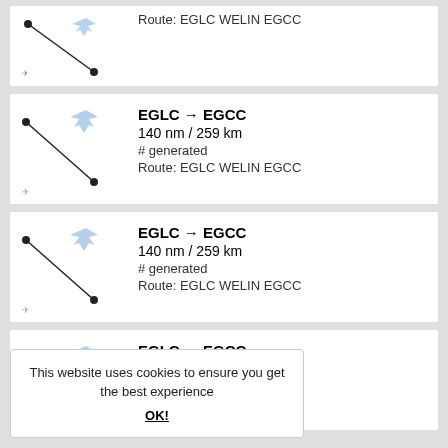[Figure (map): Flight route map from EGLC to EGCC, diagonal line from upper-left to lower-right with dots at endpoints and airplane icon]
EGLC → EGCC
140 nm / 259 km
# generated
Route: EGLC WELIN EGCC
[Figure (map): Flight route map from EGLC to EGCC, diagonal line from upper-left to lower-right with dots at endpoints and airplane icon]
EGLC → EGCC
140 nm / 259 km
# generated
Route: EGLC WELIN EGCC
[Figure (map): Flight route map from EGLC to EGCC, diagonal line from upper-left to lower-right with dots at endpoints and airplane icon]
EGLC → EGCC
140 nm / 259 km
# generated
Route: EGLC WELIN EGCC
This website uses cookies to ensure you get the best experience
OK!